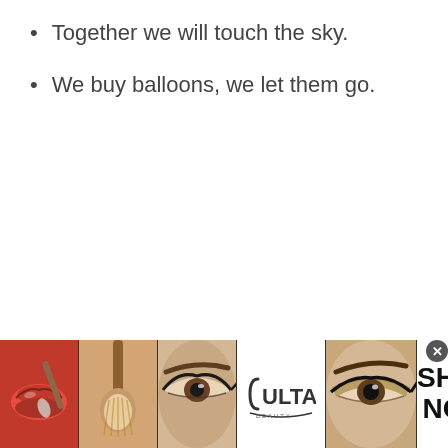Together we will touch the sky.
We buy balloons, we let them go.
[Figure (illustration): Ulta Beauty advertisement banner at the bottom of the page, showing cosmetic product images (lips with brush, makeup brush, eye with makeup, Ulta Beauty logo, eye with dramatic makeup) and a 'SHOP NOW' call to action on white background, with a dark border and close button.]